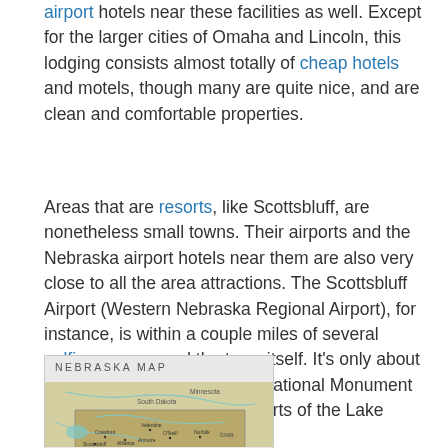airport hotels near these facilities as well. Except for the larger cities of Omaha and Lincoln, this lodging consists almost totally of cheap hotels and motels, though many are quite nice, and are clean and comfortable properties.
Areas that are resorts, like Scottsbluff, are nonetheless small towns. Their airports and the Nebraska airport hotels near them are also very close to all the area attractions. The Scottsbluff Airport (Western Nebraska Regional Airport), for instance, is within a couple miles of several golfing venues and the town itself. It's only about ten miles to the Scotts Bluff National Monument and the fishing and water sports of the Lake Minatare Recreation Area.
[Figure (map): Nebraska Map showing surrounding states including South Dakota, Minnesota, Iowa, with cities like Crawford, Valentine, Alliance, Scottsbluff, and rivers/water features marked.]